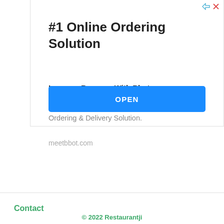[Figure (screenshot): Advertisement banner for Bbot online ordering solution with title, subtitle, body text, URL, and OPEN button]
#1 Online Ordering Solution
Increase Revenue With Bbot
Grow your Customer Base with Bbot's #1 Online Ordering & Delivery Solution.
meetbbot.com
Contact
© 2022 Restaurantji